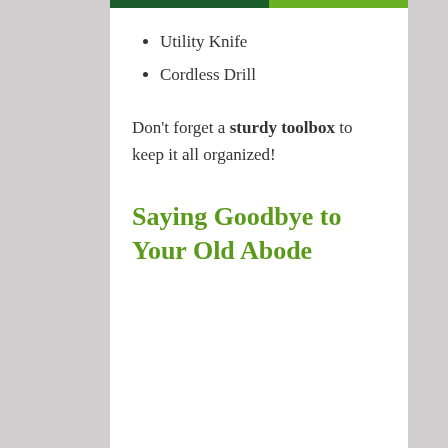Utility Knife
Cordless Drill
Don't forget a sturdy toolbox to keep it all organized!
Saying Goodbye to Your Old Abode